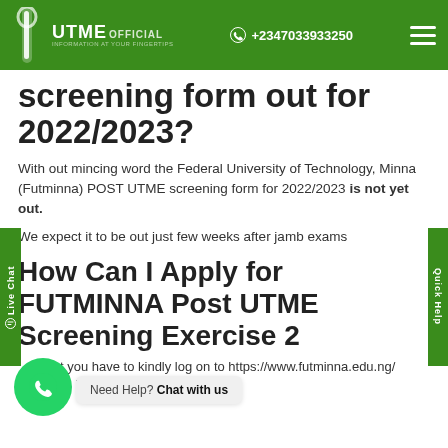UTME OFFICIAL | +2347033933250
screening form out for 2022/2023?
With out mincing word the Federal University of Technology, Minna (Futminna) POST UTME screening form for 2022/2023 is not yet out.
We expect it to be out just few weeks after jamb exams
How Can I Apply for FUTMINNA Post UTME Screening Exercise 2...
First you have to kindly log on to https://www.futminna.edu.ng/ which is FUTMINNA Post